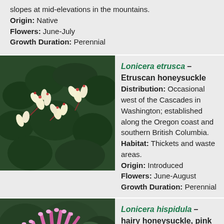Habitat: In woods, meadows and moist open slopes at mid-elevations in the mountains. Origin: Native Flowers: June-July Growth Duration: Perennial
[Figure (photo): Photo of Lonicera etrusca – Etruscan honeysuckle plant with white/yellow tubular flowers and dark green foliage]
Lonicera etrusca – Etruscan honeysuckle Distribution: Occasional west of the Cascades in Washington; established along the Oregon coast and southern British Columbia. Habitat: Thickets and waste areas. Origin: Introduced Flowers: June-August Growth Duration: Perennial
[Figure (photo): Photo of Lonicera hispidula – hairy honeysuckle, pink honeysuckle plant with pink tubular flowers]
Lonicera hispidula – hairy honeysuckle, pink honeysuckle Distribution: Occurring west of the Cascades crest in lowland western Washington; British Columbia to California. Habitat: Forest understory and edge, thickets, balds, and open woodlands at low